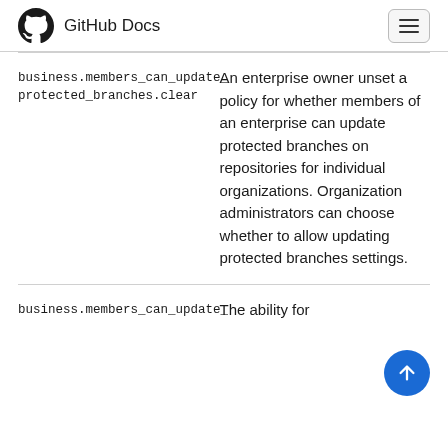GitHub Docs
| Action | Description |
| --- | --- |
| business.members_can_update_protected_branches.clear | An enterprise owner unset a policy for whether members of an enterprise can update protected branches on repositories for individual organizations. Organization administrators can choose whether to allow updating protected branches settings. |
| business.members_can_update_ | The ability for |